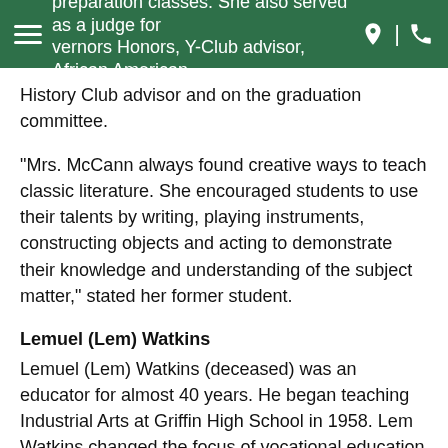preparation classes. She also served as a judge for Governors Honors, Y-Club advisor, African American History Club advisor and on the graduation committee.
“Mrs. McCann always found creative ways to teach classic literature. She encouraged students to use their talents by writing, playing instruments, constructing objects and acting to demonstrate their knowledge and understanding of the subject matter,” stated her former student.
Lemuel (Lem) Watkins
Lemuel (Lem) Watkins (deceased) was an educator for almost 40 years. He began teaching Industrial Arts at Griffin High School in 1958. Lem Watkins changed the focus of vocational education from general skills to teaching marketable skills for success regardless of career choice. Through his instruction, education gained value and drop-out rates declined. Students gained a sense of pride in their projects, their expectations increased and their